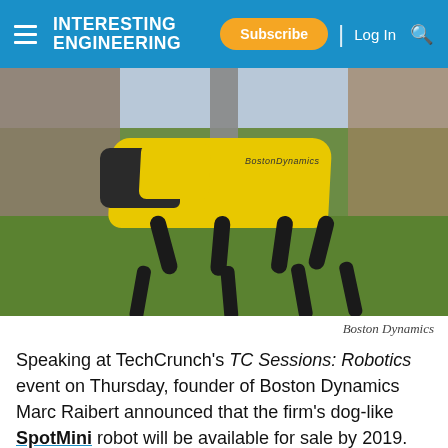INTERESTING ENGINEERING — Subscribe | Log In
[Figure (photo): Boston Dynamics Spot Mini quadruped robot, yellow and black, standing on grass in front of a brick wall and wooden fence.]
Boston Dynamics
Speaking at TechCrunch's TC Sessions: Robotics event on Thursday, founder of Boston Dynamics Marc Raibert announced that the firm's dog-like SpotMini robot will be available for sale by 2019. The robot was first introduced last year.